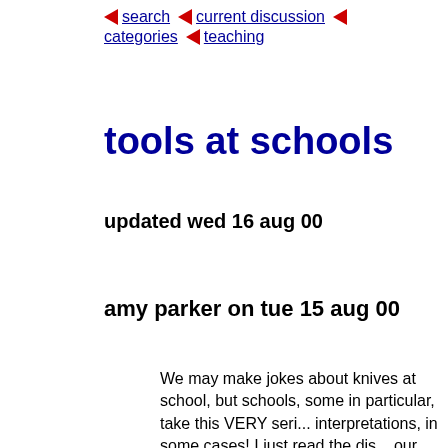◄ search ◄ current discussion ◄ categories ◄ teaching
tools at schools
updated wed 16 aug 00
amy parker on tue 15 aug 00
We may make jokes about knives at school, but schools, some in particular, take this VERY seriously, to absurd interpretations, in some cases! I just read the discipline policy of our local school system last night (a homework assignment, don't make me do it), and in my state, it is a FELONY to bring a "weapon" into a school or ONTO SCHOOL PROPERTY (yes, the parking lot is ON school property!). The book goes on to say anything designed to cut with a blade longer tha... Also felony-status are razor blades, now known "trimmers". My swiss army "tool" that appears... since it lives in my purse & has been x-rayed h...